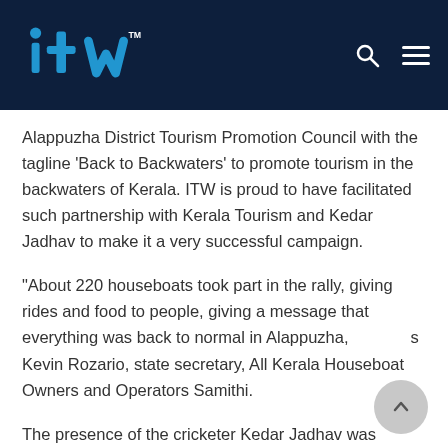ITW (logo)
Alappuzha District Tourism Promotion Council with the tagline 'Back to Backwaters' to promote tourism in the backwaters of Kerala. ITW is proud to have facilitated such partnership with Kerala Tourism and Kedar Jadhav to make it a very successful campaign.
"About 220 houseboats took part in the rally, giving rides and food to people, giving a message that everything was back to normal in Alappuzha," s Kevin Rozario, state secretary, All Kerala Houseboat Owners and Operators Samithi.
The presence of the cricketer Kedar Jadhav was